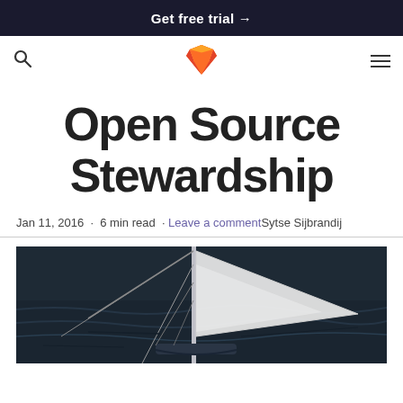Get free trial →
[Figure (logo): GitLab fox logo in orange/red]
Open Source Stewardship
Jan 11, 2016 · 6 min read · Leave a comment Sytse Sijbrandij
[Figure (photo): Sailing boat rigging with mast, ropes and white sail against dark ocean water]